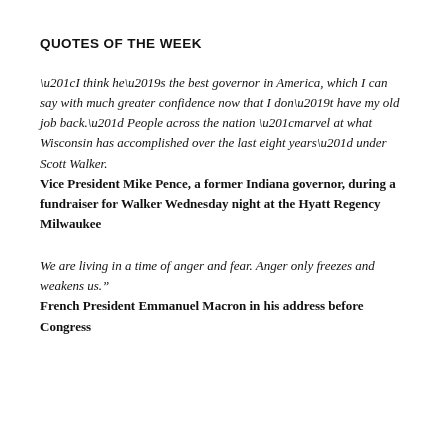QUOTES OF THE WEEK
“I think he’s the best governor in America, which I can say with much greater confidence now that I don’t have my old job back.” People across the nation “marvel at what Wisconsin has accomplished over the last eight years” under Scott Walker. Vice President Mike Pence, a former Indiana governor, during a fundraiser for Walker Wednesday night at the Hyatt Regency Milwaukee
We are living in a time of anger and fear. Anger only freezes and weakens us.” French President Emmanuel Macron in his address before Congress